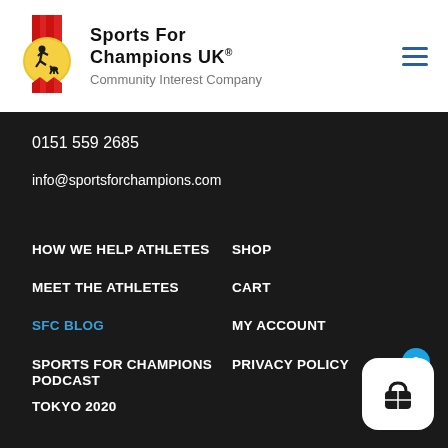[Figure (logo): Sports For Champions UK logo: gold medal with athletes, red ribbon]
Sports For Champions UK® Community Interest Company
0151 559 2685
info@sportsforchampions.com
HOW WE HELP ATHLETES
MEET THE ATHLETES
SFC BLOG
SPORTS FOR CHAMPIONS PODCAST
TOKYO 2020
SHOP
CART
MY ACCOUNT
PRIVACY POLICY